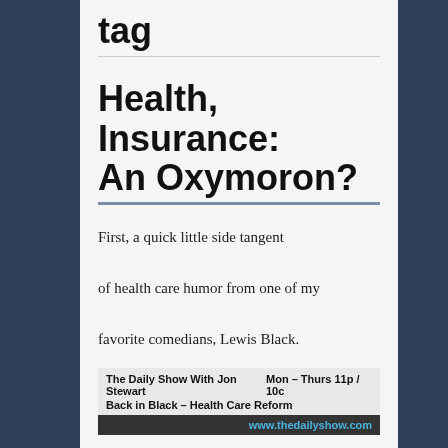tag
Health, Insurance: An Oxymoron?
First, a quick little side tangent of health care humor from one of my favorite comedians, Lewis Black.
[Figure (screenshot): Video embed bar showing 'The Daily Show With Jon Stewart — Back in Black – Health Care Reform, Mon – Thurs 11p / 10c, www.thedailyshow.com']